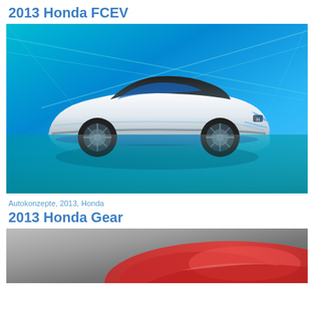2013 Honda FCEV
[Figure (photo): Photo of the 2013 Honda FCEV concept car, a sleek white futuristic vehicle with a black roof, photographed in a blue-toned environment with reflective floor and architectural lines in the background.]
Autokonzepte, 2013, Honda
2013 Honda Gear
[Figure (photo): Partial photo of the 2013 Honda Gear concept car, showing a red-toned design element, partially cropped at the bottom of the page.]